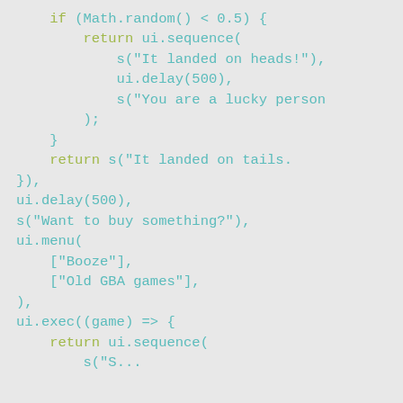[Figure (screenshot): Code snippet in a monospace font on a light grey background showing JavaScript code with if/return/ui.sequence/ui.delay/ui.menu/ui.exec constructs and string literals in teal/green color scheme.]